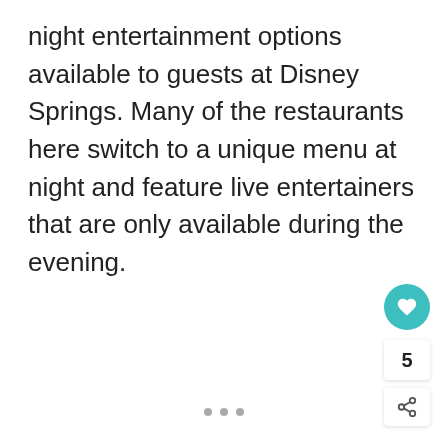night entertainment options available to guests at Disney Springs. Many of the restaurants here switch to a unique menu at night and feature live entertainers that are only available during the evening.
[Figure (other): A light gray rectangular placeholder image area with three small gray dots at the bottom center indicating a carousel or slideshow. UI buttons on the right include a teal heart/favorite button, a count badge showing '5', and a share button.]